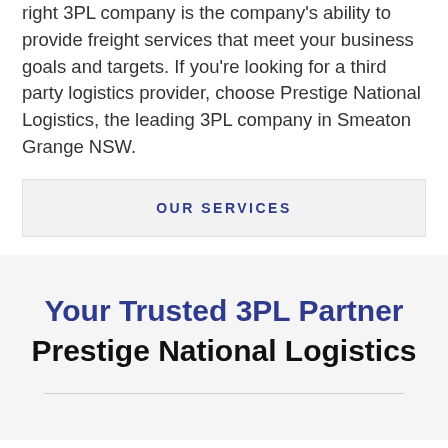right 3PL company is the company's ability to provide freight services that meet your business goals and targets. If you're looking for a third party logistics provider, choose Prestige National Logistics, the leading 3PL company in Smeaton Grange NSW.
OUR SERVICES
Your Trusted 3PL Partner Prestige National Logistics